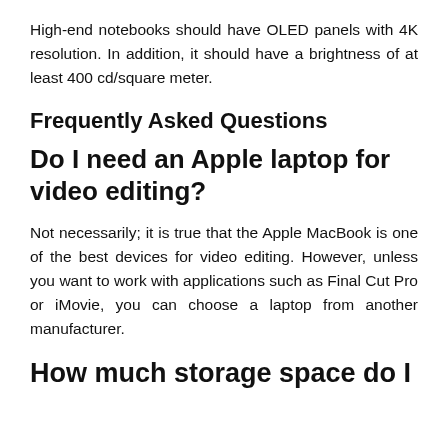High-end notebooks should have OLED panels with 4K resolution. In addition, it should have a brightness of at least 400 cd/square meter.
Frequently Asked Questions
Do I need an Apple laptop for video editing?
Not necessarily; it is true that the Apple MacBook is one of the best devices for video editing. However, unless you want to work with applications such as Final Cut Pro or iMovie, you can choose a laptop from another manufacturer.
How much storage space do I